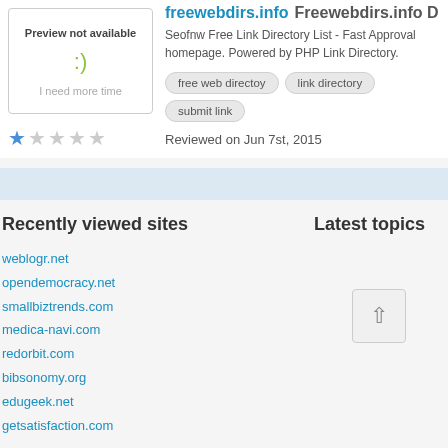[Figure (screenshot): Preview not available box with smiley face and 'I need more time' text]
freewebdirs.info  Freewebdirs.info
Seofnw Free Link Directory List - Fast Approval homepage. Powered by PHP Link Directory.
free web directoy   link directory   submit link
Reviewed on  Jun 7st, 2015
Recently viewed sites
Latest topics
weblogr.net
opendemocracy.net
smallbiztrends.com
medica-navi.com
redorbit.com
bibsonomy.org
edugeek.net
getsatisfaction.com